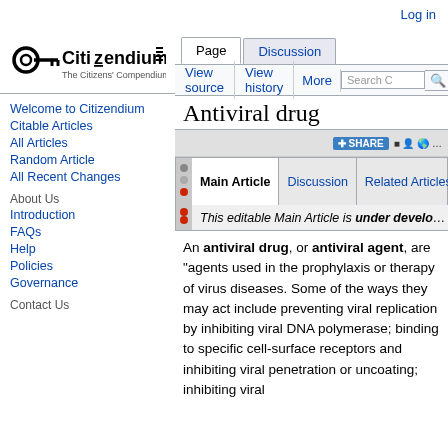Log in
[Figure (logo): Citizendium logo - The Citizens' Compendium]
Welcome to Citizendium
Citable Articles
All Articles
Random Article
All Recent Changes
About Us
Introduction
FAQs
Help
Policies
Governance
Contact Us
Antiviral drug
|  | Main Article | Discussion | Related Articles |
| --- | --- | --- | --- |
|  | This editable Main Article is under develo... |  |  |
An antiviral drug, or antiviral agent, are "agents used in the prophylaxis or therapy of virus diseases. Some of the ways they may act include preventing viral replication by inhibiting viral DNA polymerase; binding to specific cell-surface receptors and inhibiting viral penetration or uncoating; inhibiting viral